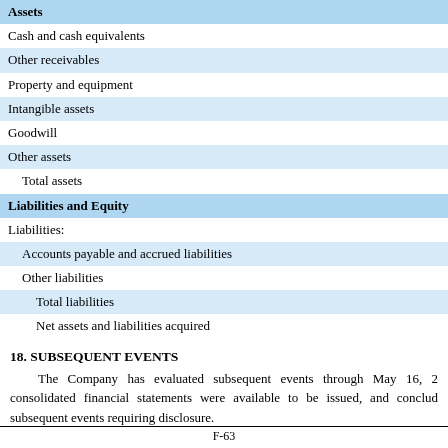| Assets |
| Cash and cash equivalents |
| Other receivables |
| Property and equipment |
| Intangible assets |
| Goodwill |
| Other assets |
| Total assets |
| Liabilities and Equity |
| Liabilities: |
| Accounts payable and accrued liabilities |
| Other liabilities |
| Total liabilities |
| Net assets and liabilities acquired |
18. SUBSEQUENT EVENTS
The Company has evaluated subsequent events through May 16, 2... consolidated financial statements were available to be issued, and concluded... subsequent events requiring disclosure.
F-63